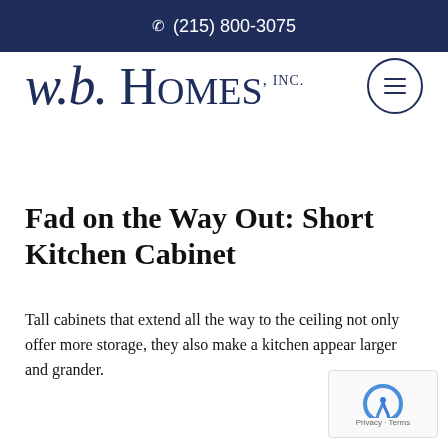(215) 800-3075
[Figure (logo): w.b. Homes, Inc. logo in dark navy serif font with hamburger menu button]
Fad on the Way Out: Short Kitchen Cabinet
Tall cabinets that extend all the way to the ceiling not only offer more storage, they also make a kitchen appear larger and grander.
[Figure (other): reCAPTCHA badge with Privacy and Terms links]